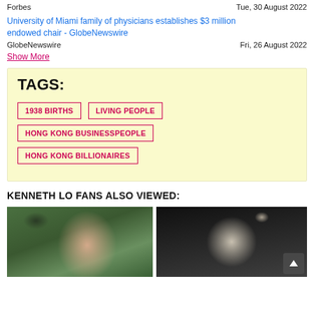Forbes	Tue, 30 August 2022
University of Miami family of physicians establishes $3 million endowed chair - GlobeNewswire
GlobeNewswire	Fri, 26 August 2022
Show More
TAGS:
1938 BIRTHS
LIVING PEOPLE
HONG KONG BUSINESSPEOPLE
HONG KONG BILLIONAIRES
KENNETH LO FANS ALSO VIEWED:
[Figure (photo): Photo of a person (left)]
[Figure (photo): Photo of a person (right)]